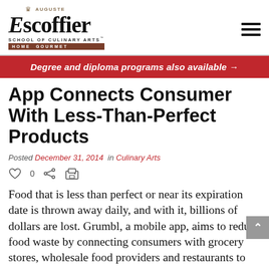Auguste Escoffier School of Culinary Arts Home Gourmet
Degree and diploma programs also available →
App Connects Consumer With Less-Than-Perfect Products
Posted December 31, 2014 in Culinary Arts
[Figure (other): Social sharing icons: heart with 0, share icon, print icon]
Food that is less than perfect or near its expiration date is thrown away daily, and with it, billions of dollars are lost. Grumbl, a mobile app, aims to reduce food waste by connecting consumers with grocery stores, wholesale food providers and restaurants to purchase the less-